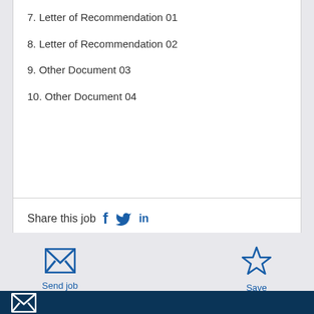7. Letter of Recommendation 01
8. Letter of Recommendation 02
9. Other Document 03
10. Other Document 04
Share this job
[Figure (infographic): Send job button with envelope icon]
[Figure (infographic): Save button with star icon]
[Figure (infographic): Footer dark blue bar with envelope icon]